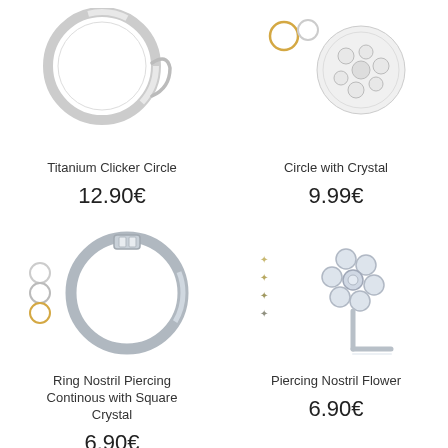[Figure (photo): Titanium Clicker Circle piercing ring product image, silver ring with hook variant]
Titanium Clicker Circle
12.90€
[Figure (photo): Circle with Crystal piercing ring product image, gold and silver ring with crystal decoration]
Circle with Crystal
9.99€
[Figure (photo): Ring Nostril Piercing Continous with Square Crystal, large silver ring with crystal clasp and small ring variants]
Ring Nostril Piercing Continous with Square Crystal
6.90€
[Figure (photo): Piercing Nostril Flower, silver L-shaped nose stud with flower crystal top and small star variants]
Piercing Nostril Flower
6.90€